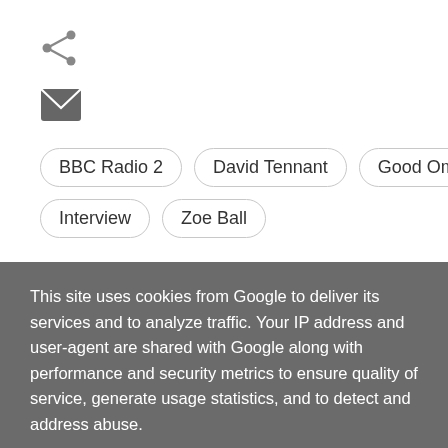[Figure (other): Share icon (less-than style network share symbol)]
[Figure (other): Email/envelope icon]
BBC Radio 2
David Tennant
Good Omens
Interview
Zoe Ball
This site uses cookies from Google to deliver its services and to analyze traffic. Your IP address and user-agent are shared with Google along with performance and security metrics to ensure quality of service, generate usage statistics, and to detect and address abuse.
LEARN MORE   OK